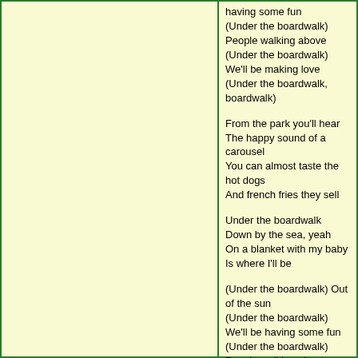having some fun
(Under the boardwalk) People walking above
(Under the boardwalk) We'll be making love
(Under the boardwalk, boardwalk)

From the park you'll hear
The happy sound of a carousel
You can almost taste the hot dogs
And french fries they sell

Under the boardwalk
Down by the sea, yeah
On a blanket with my baby
Is where I'll be

(Under the boardwalk) Out of the sun
(Under the boardwalk) We'll be having some fun
(Under the boardwalk) People walking above
(Under the boardwalk) We'll be making love
(Under the boardwalk, boardwalk)